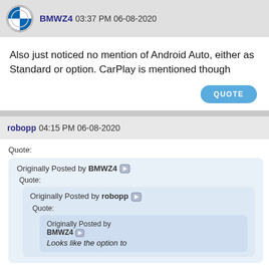BMWZ4 03:37 PM 06-08-2020
Also just noticed no mention of Android Auto, either as Standard or option. CarPlay is mentioned though
QUOTE
robopp 04:15 PM 06-08-2020
Quote:
Originally Posted by BMWZ4
Quote:
Originally Posted by robopp
Quote:
Originally Posted by BMWZ4
Looks like the option to